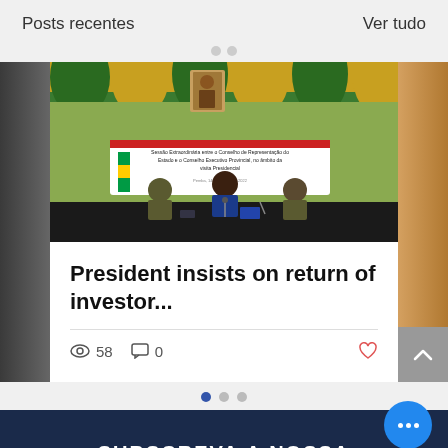Posts recentes    Ver tudo
[Figure (photo): Photo of a formal meeting session with officials seated at a table with a banner reading 'Sessão Extraordinária entre o Conselho de Representação do Estado e o Conselho Executivo Provincial, no âmbito da visita Presidencial', with green and yellow decorations and Mozambique flag in background.]
President insists on return of investor...
58  0
SUBSCREVA A NOSSA